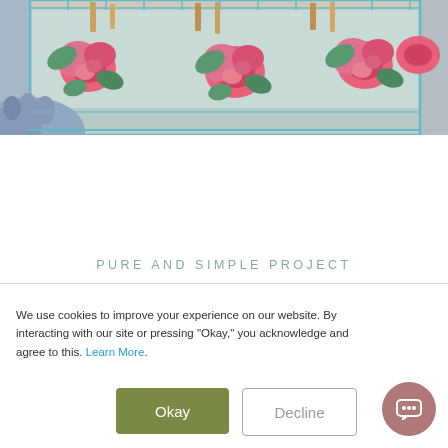[Figure (photo): Photo of a decorative wire basket with a light blue/teal floral fabric liner featuring pink roses and green leaves, containing wooden items. A hand in a blue glove is visible at the bottom left.]
PURE AND SIMPLE PROJECT
We use cookies to improve your experience on our website. By interacting with our site or pressing "Okay," you acknowledge and agree to this. Learn More.